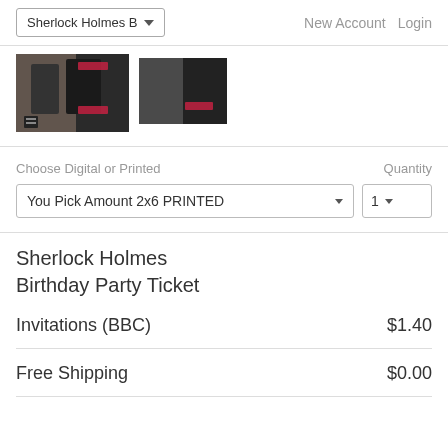Sherlock Holmes B▾   New Account   Login
[Figure (photo): Two product images showing Sherlock Holmes birthday party invitation cards with dark background and pink/red text]
Choose Digital or Printed   Quantity
You Pick Amount 2x6 PRINTED   1
Sherlock Holmes
Birthday Party Ticket
| Invitations (BBC) | $1.40 |
| Free Shipping | $0.00 |